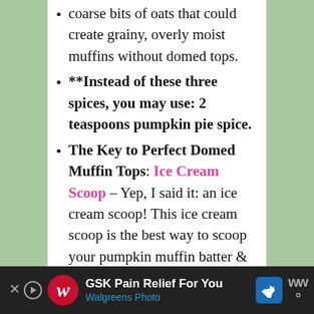coarse bits of oats that could create grainy, overly moist muffins without domed tops.
**Instead of these three spices, you may use: 2 teaspoons pumpkin pie spice.
The Key to Perfect Domed Muffin Tops: Ice Cream Scoop – Yep, I said it: an ice cream scoop! This ice cream scoop is the best way to scoop your pumpkin muffin batter & drop it into your muffin cups… to achieve a perfectly round, beautifully domed muffin top. This batter bakes up almost exactly as it looks when you
[Figure (screenshot): Advertisement bar at bottom: Walgreens 'GSK Pain Relief For You / Walgreens Photo' ad with navigation icon and WW logo, dark background]